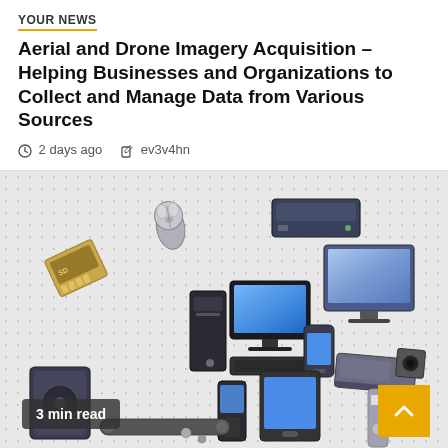Your News
Aerial and Drone Imagery Acquisition – Helping Businesses and Organizations to Collect and Manage Data from Various Sources
2 days ago   ev3v4hn
[Figure (illustration): Collage of various computer hardware devices including a mouse, memory card, computer tower with monitor, desktop PC, monitor, external hard drive, camcorder, mobile phone, tablet, and other peripherals arranged on a checkered background. A '3 min read' badge overlays the bottom left.]